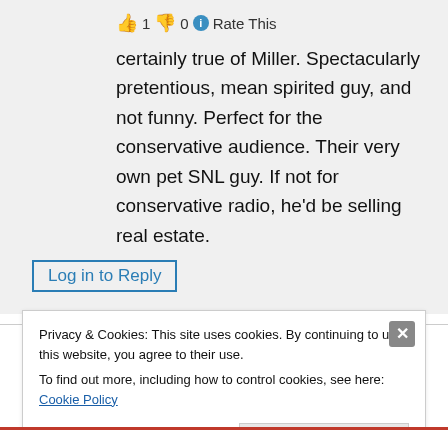👍 1 👎 0 ℹ Rate This
certainly true of Miller. Spectacularly pretentious, mean spirited guy, and not funny. Perfect for the conservative audience. Their very own pet SNL guy. If not for conservative radio, he'd be selling real estate.
Log in to Reply
Privacy & Cookies: This site uses cookies. By continuing to use this website, you agree to their use.
To find out more, including how to control cookies, see here: Cookie Policy
Close and accept